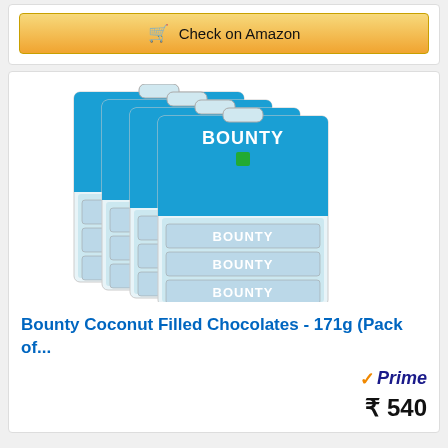[Figure (screenshot): Check on Amazon button with shopping cart icon, gold/yellow gradient background]
[Figure (photo): Four Bounty Coconut Filled Chocolates packs (171g each) arranged in a fan/stacked pattern, with blue packaging and white Bounty candy bars visible]
Bounty Coconut Filled Chocolates - 171g (Pack of...
[Figure (logo): Amazon Prime badge with orange checkmark and blue italic Prime text]
₹ 540